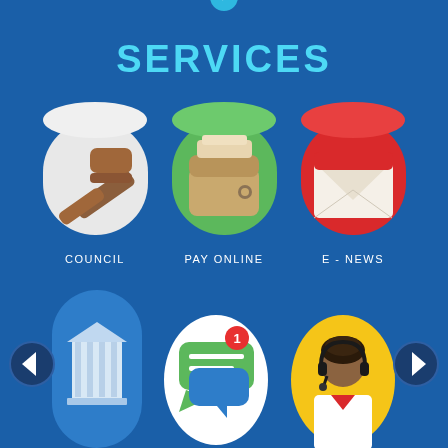[Figure (infographic): Government services app screen showing 'SERVICES' title with icons: Council (gavel/court), Pay Online (wallet), E-News (envelope), and three more icons below (building, messaging, customer service). Navigation arrows on sides.]
SERVICES
COUNCIL   PAY ONLINE   E-NEWS